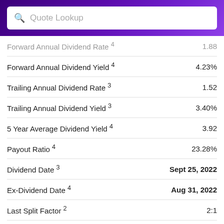Quote Lookup
| Metric | Value |
| --- | --- |
| Forward Annual Dividend Rate 4 | 1.88 |
| Forward Annual Dividend Yield 4 | 4.23% |
| Trailing Annual Dividend Rate 3 | 1.52 |
| Trailing Annual Dividend Yield 3 | 3.40% |
| 5 Year Average Dividend Yield 4 | 3.92 |
| Payout Ratio 4 | 23.28% |
| Dividend Date 3 | Sept 25, 2022 |
| Ex-Dividend Date 4 | Aug 31, 2022 |
| Last Split Factor 2 | 2:1 |
| Last Split Date 3 | May 11, 2008 |
Financial Highlights